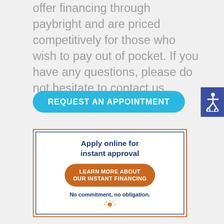offer financing through paybright and are priced competitively for those who wish to pay out of pocket. If you have any questions, please do not hesitate to contact us.
[Figure (other): Blue rounded button labeled REQUEST AN APPOINTMENT]
[Figure (other): Purple/blue accessibility icon button on right edge]
[Figure (infographic): Financing promotional box with orange border and inner blue border. Contains text: Apply online for instant approval, orange button LEARN MORE ABOUT OUR INSTANT FINANCING, text No commitment, no obligation., and partial sun/person icon at bottom.]